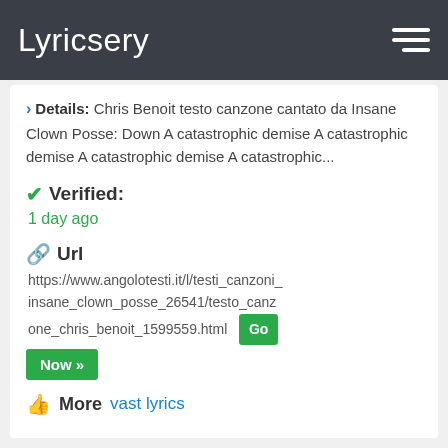Lyricsery
Details: Chris Benoit testo canzone cantato da Insane Clown Posse: Down A catastrophic demise A catastrophic demise A catastrophic demise A catastrophic...
Verified:
1 day ago
Url
https://www.angolotesti.it/l/testi_canzoni_insane_clown_posse_26541/testo_canzone_chris_benoit_1599559.html Go Now »
More vast lyrics